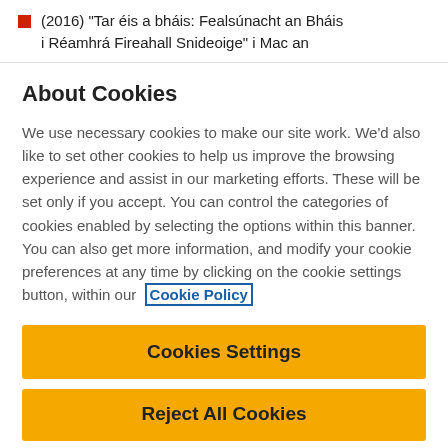(2016) “Tar éis a bháis: Fealsúnacht an Bháis i Réamhrá Fireahall Snideoige” i Mac an
About Cookies
We use necessary cookies to make our site work. We’d also like to set other cookies to help us improve the browsing experience and assist in our marketing efforts. These will be set only if you accept. You can control the categories of cookies enabled by selecting the options within this banner. You can also get more information, and modify your cookie preferences at any time by clicking on the cookie settings button, within our Cookie Policy
Cookies Settings
Reject All Cookies